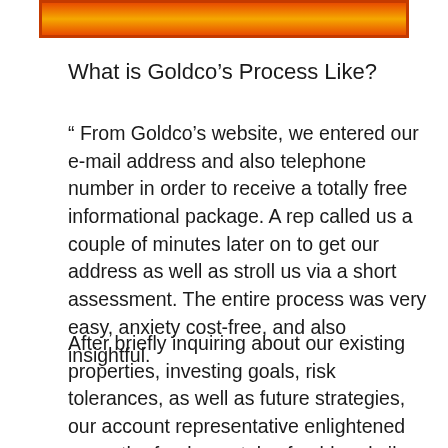[Figure (other): Orange-red gradient banner/header bar]
What is Goldco’s Process Like?
“ From Goldco’s website, we entered our e-mail address and also telephone number in order to receive a totally free informational package. A rep called us a couple of minutes later on to get our address as well as stroll us via a short assessment. The entire process was very easy, anxiety cost-free, and also insightful.
After briefly inquiring about our existing properties, investing goals, risk tolerances, as well as future strategies, our account representative enlightened us on the fundamentals of gold and silver Individual